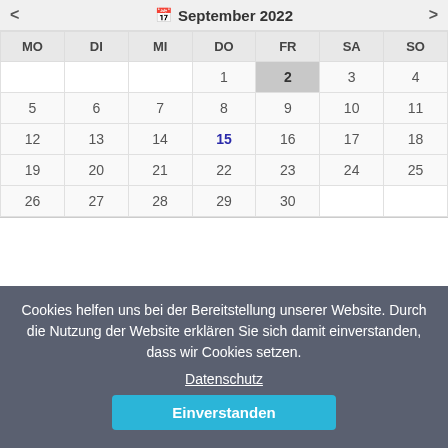[Figure (other): September 2022 calendar widget showing days 1-30, with day 2 highlighted as today (Friday) and day 15 shown in blue (Thursday). Days of week headers: MO, DI, MI, DO, FR, SA, SO.]
Cookies helfen uns bei der Bereitstellung unserer Website. Durch die Nutzung der Website erklären Sie sich damit einverstanden, dass wir Cookies setzen.
Datenschutz
Einverstanden